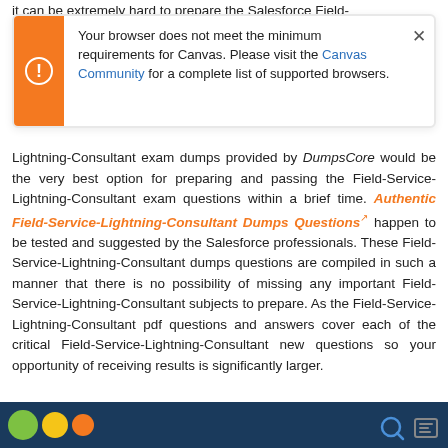it can be extremely hard to prepare the Salesforce Field-
[Figure (screenshot): Browser warning dialog with orange left bar and exclamation icon. Text reads: 'Your browser does not meet the minimum requirements for Canvas. Please visit the Canvas Community for a complete list of supported browsers.' with a close (×) button.]
Lightning-Consultant exam dumps provided by DumpsCore would be the very best option for preparing and passing the Field-Service-Lightning-Consultant exam questions within a brief time. Authentic Field-Service-Lightning-Consultant Dumps Questions happen to be tested and suggested by the Salesforce professionals. These Field-Service-Lightning-Consultant dumps questions are compiled in such a manner that there is no possibility of missing any important Field-Service-Lightning-Consultant subjects to prepare. As the Field-Service-Lightning-Consultant pdf questions and answers cover each of the critical Field-Service-Lightning-Consultant new questions so your opportunity of receiving results is significantly larger.
[Figure (screenshot): Bottom strip showing a dark blue background with colored circular icons (green, yellow, orange) and search/navigation icons on the right.]